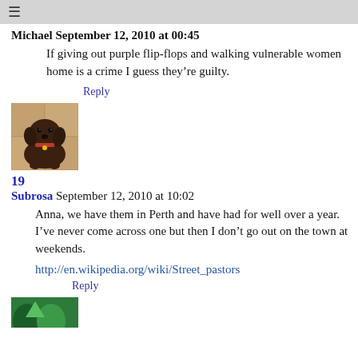≡
Michael September 12, 2010 at 00:45
If giving out purple flip-flops and walking vulnerable women home is a crime I guess they're guilty.
Reply
[Figure (photo): Photo of a dark brown Labrador dog sitting on a tiled floor]
19
Subrosa September 12, 2010 at 10:02
Anna, we have them in Perth and have had for well over a year. I've never come across one but then I don't go out on the town at weekends.
http://en.wikipedia.org/wiki/Street_pastors
Reply
[Figure (photo): Partial view of another avatar image at the bottom of the page]